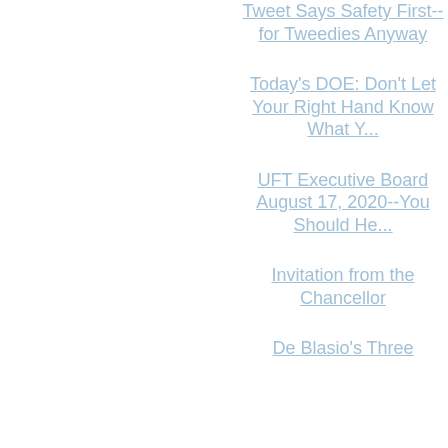Tweet Says Safety First--for Tweedies Anyway
Today's DOE: Don't Let Your Right Hand Know What Y...
UFT Executive Board August 17, 2020--You Should He...
Invitation from the Chancellor
De Blasio's Three